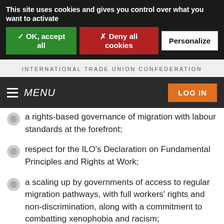This site uses cookies and gives you control over what you want to activate
✓ OK, accept all
✗ Deny all cookies
Personalize
INTERNATIONAL TRADE UNION CONFEDERATION
MENU
LOG IN
a rights-based governance of migration with labour standards at the forefront;
respect for the ILO's Declaration on Fundamental Principles and Rights at Work;
a scaling up by governments of access to regular migration pathways, with full workers' rights and non-discrimination, along with a commitment to combatting xenophobia and racism;